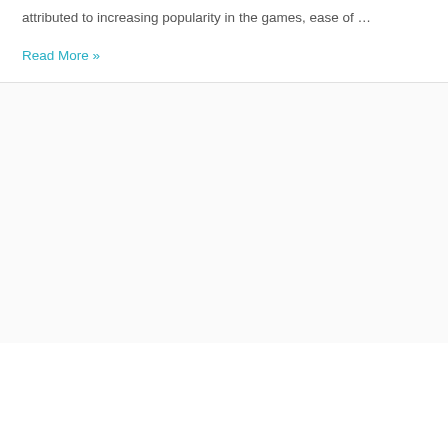attributed to increasing popularity in the games, ease of …
Read More »